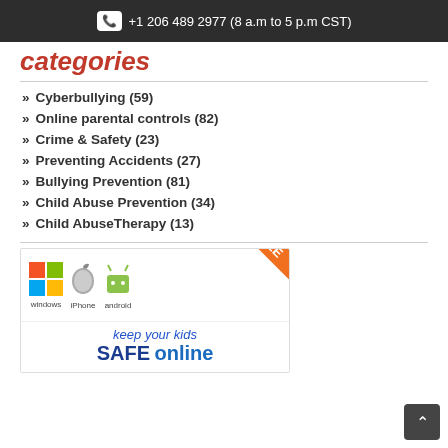+1 206 489 2977 (8 a.m to 5 p.m CST)
categories
Cyberbullying (59)
Online parental controls (82)
Crime & Safety (23)
Preventing Accidents (27)
Bullying Prevention (81)
Child Abuse Prevention (34)
Child AbuseTherapy (13)
[Figure (infographic): Advertisement banner showing Windows, iPhone, and Android icons with FREE badge, and text 'keep your kids SAFE online']